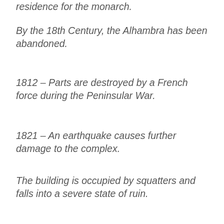residence for the monarch.
By the 18th Century, the Alhambra has been abandoned.
1812 – Parts are destroyed by a French force during the Peninsular War.
1821 – An earthquake causes further damage to the complex.
The building is occupied by squatters and falls into a severe state of ruin.
After years of neglect, Alhambra is rediscovered by European scholars and travelers. In 1870 it is officially declared a